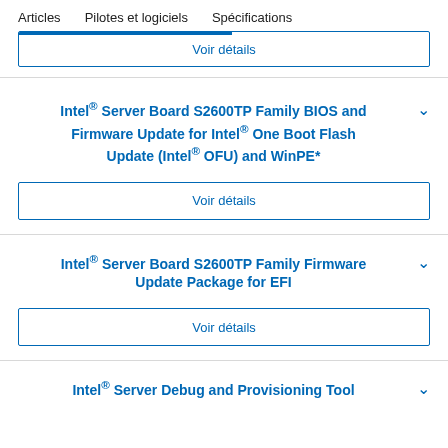Articles   Pilotes et logiciels   Spécifications
Voir détails
Intel® Server Board S2600TP Family BIOS and Firmware Update for Intel® One Boot Flash Update (Intel® OFU) and WinPE*
Voir détails
Intel® Server Board S2600TP Family Firmware Update Package for EFI
Voir détails
Intel® Server Debug and Provisioning Tool